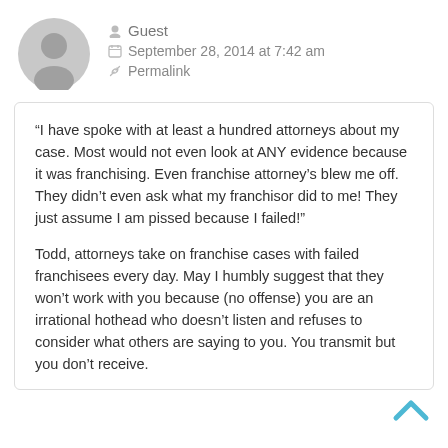Guest
September 28, 2014 at 7:42 am
Permalink
“I have spoke with at least a hundred attorneys about my case. Most would not even look at ANY evidence because it was franchising. Even franchise attorney’s blew me off. They didn’t even ask what my franchisor did to me! They just assume I am pissed because I failed!”
Todd, attorneys take on franchise cases with failed franchisees every day. May I humbly suggest that they won’t work with you because (no offense) you are an irrational hothead who doesn’t listen and refuses to consider what others are saying to you. You transmit but you don’t receive.